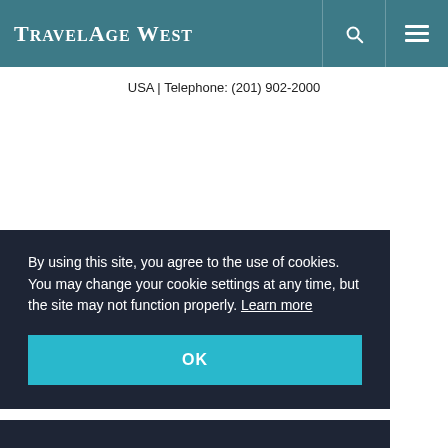TravelAge West
USA | Telephone: (201) 902-2000
By using this site, you agree to the use of cookies. You may change your cookie settings at any time, but the site may not function properly. Learn more
OK